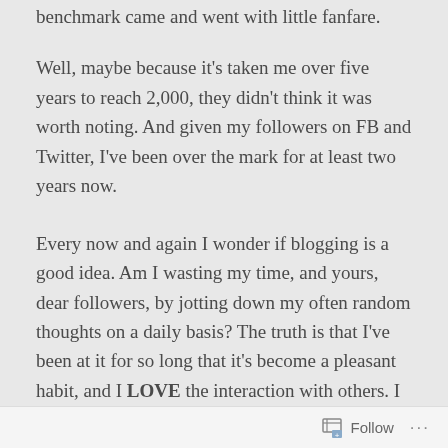benchmark came and went with little fanfare.
Well, maybe because it's taken me over five years to reach 2,000, they didn't think it was worth noting. And given my followers on FB and Twitter, I've been over the mark for at least two years now.
Every now and again I wonder if blogging is a good idea. Am I wasting my time, and yours, dear followers, by jotting down my often random thoughts on a daily basis? The truth is that I've been at it for so long that it's become a pleasant habit, and I LOVE the interaction with others. I learn so much from reading the
Follow ···